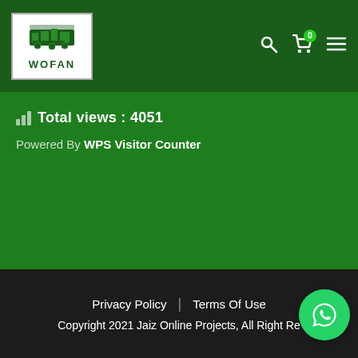[Figure (logo): WOFAN logo — white box with green machinery icon and WOFAN text]
Total views : 4051
Powered By WPS Visitor Counter
Privacy Policy | Terms Of Use
Copyright 2021 Jaiz Online Projects, All Right Re...